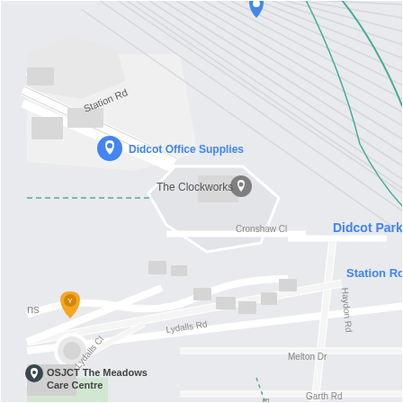[Figure (map): Google Maps screenshot showing Didcot Parkway area in UK. Shows Station Rd, Cronshaw Cl, Haydon Rd, Lydalls Rd, Lydalls Cl, Melton Dr, Edinburgh Dr, Garth Rd, King Av, Edinburgh Dr labeled roads. Points of interest include: Didcot Office Supplies (blue marker), The Clockworks (grey marker), Didcot Parkway rail station (blue text with red rail icon), Station Road Car Park (with blue P parking marker), Didcot Skateboard Park (green location pin), Enterprise Car & Van Hire - Didcot (blue text), OSJCT The Meadows Care Centre (dark marker), Sainsburys (partial, blue text). Orange marker visible on left side. Railway lines run diagonally across upper portion.]